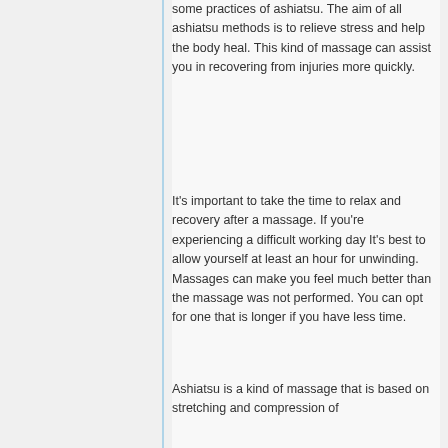some practices of ashiatsu. The aim of all ashiatsu methods is to relieve stress and help the body heal. This kind of massage can assist you in recovering from injuries more quickly.
It's important to take the time to relax and recovery after a massage. If you're experiencing a difficult working day It's best to allow yourself at least an hour for unwinding. Massages can make you feel much better than the massage was not performed. You can opt for one that is longer if you have less time.
Ashiatsu is a kind of massage that is based on stretching and compression of